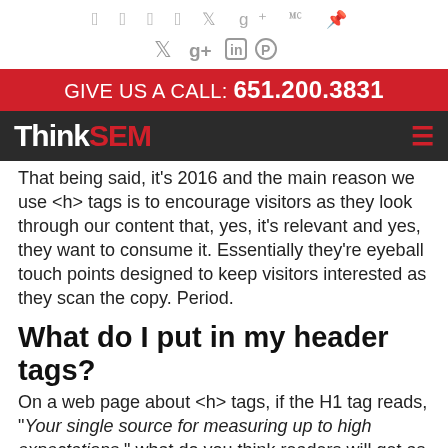Social icons: Twitter, Google+, LinkedIn, Pinterest
GIVE US A CALL: 651.200.3831
ThinkSEM [navigation logo and hamburger menu]
That being said, it's 2016 and the main reason we use <h> tags is to encourage visitors as they look through our content that, yes, it's relevant and yes, they want to consume it. Essentially they're eyeball touch points designed to keep visitors interested as they scan the copy. Period.
What do I put in my header tags?
On a web page about <h> tags, if the H1 tag reads, "Your single source for measuring up to high expectations," what do you think readers will get as a takeaway?
For starters, I think they'll be very confused about what the content will tell them, since the <h1> didn't